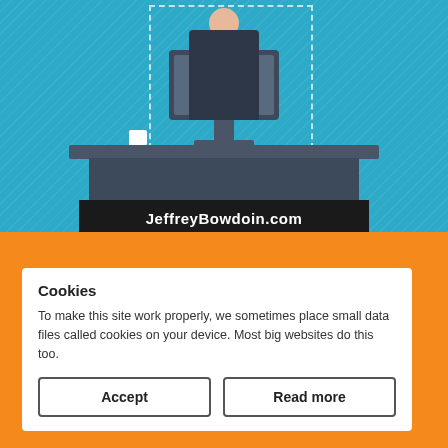[Figure (illustration): Flat-style illustration of a person sitting at a desk with a monitor, on a teal/blue diagonal-pattern background. A dashed rectangle frames the upper portion. A white coffee cup is on the desk. A black banner at the bottom reads 'JeffreyBowdoin.com'.]
How to add an HTML Sitemap to WordPress
1 Comment / WordPress SEO / By ...
You may know how important XML Sitemaps are, but did you know that HTML Sitemaps are a critical component for SEO...
Cookies
To make this site work properly, we sometimes place small data files called cookies on your device. Most big websites do this too.